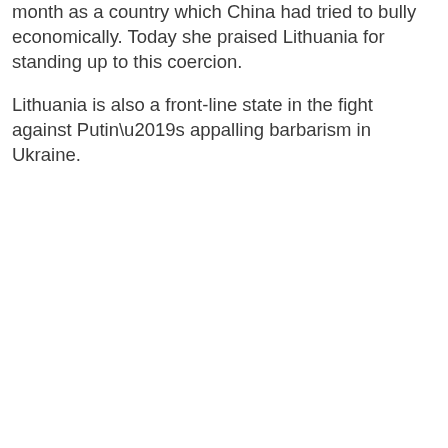month as a country which China had tried to bully economically. Today she praised Lithuania for standing up to this coercion.
Lithuania is also a front-line state in the fight against Putin’s appalling barbarism in Ukraine.